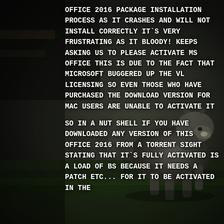[Figure (photo): Dark moody background photo of a wolf standing on grass near a wooden structure, with dark greenish-brown tones]
OFFICE 2016 PACKAGE INSTALLATION PROCESS AS IT CRASHES AND WILL NOT INSTALL CORRECTLY IT`S VERY FRUSTRATING AS IT BLOODY! KEEPS ASKING US TO PLEASE ACTIVATE MS OFFICE THIS IS DUE TO THE FACT THAT MICROSOFT BUGGERED UP THE VL LICENSING SO EVEN THOSE WHO HAVE PURCHASED THE DOWNLOAD VERSION FOR MAC USERS ARE UNABLE TO ACTIVATE IT

SO IN A NUT SHELL IF YOU HAVE DOWNLOADED ANY VERSION OF THIS OFFICE 2016 FROM A TORRENT SIGHT STATING THAT IT`S FULLY ACTIVATED IS A LOAD OF BS BECAUSE IT NEEDS A PATCH ETC... FOR IT TO BE ACTIVATED IN THE